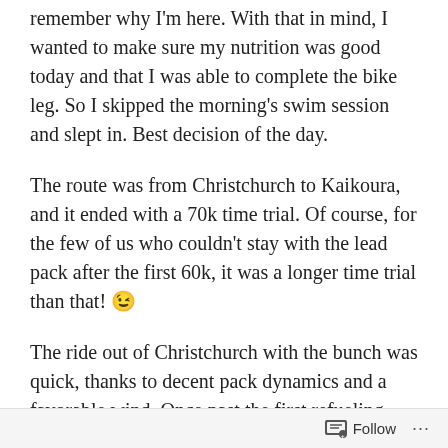remember why I'm here. With that in mind, I wanted to make sure my nutrition was good today and that I was able to complete the bike leg. So I skipped the morning's swim session and slept in. Best decision of the day.
The route was from Christchurch to Kaikoura, and it ended with a 70k time trial. Of course, for the few of us who couldn't stay with the lead pack after the first 60k, it was a longer time trial than that! 😉
The ride out of Christchurch with the bunch was quick, thanks to decent pack dynamics and a favorable wind. Once past the first refueling point in Rangiota, though, the pace picked up considerably, and try as I might to stay on the thinning group's wheel, I and few others were off the back pretty
Follow ···